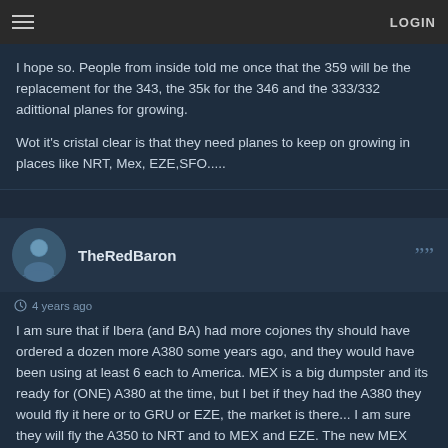≡   LOGIN
I hope so. People from inside told me once that the 359 will be the replacement for the 343, the 35k for the 346 and the 333/332 adittional planes for growing.

Wot it's cristal clear is that they need planes to keep on growing in places like NRT, Mex, EZE,SFO.....
TheRedBaron
4 years ago
I am sure that if Ibera (and BA) had more cojones thy should have ordered a dozen more A380 some years ago, and they would have been using at least 6 each to America. MEX is a big dumpster and its ready for (ONE) A380 at the time, but I bet if they had the A380 they would fly it here or to GRU or EZE, the market is there... I am sure they will fly the A350 to NRT and to MEX and EZE. The new MEX airport will surely change the playing field, and bigger metal will be more common at MEX, Iberia might use the A350 as a growth aircraft and to have the 3 class markets that they constantly fill $$$$.

It will be interesting the price of tickets this summer from MEX to